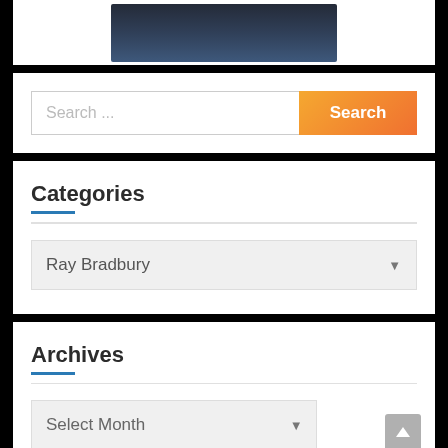[Figure (photo): Partial dark image visible at top, appears to be a concert or night scene photo]
Search ...
Search
Categories
Ray Bradbury
Archives
Select Month